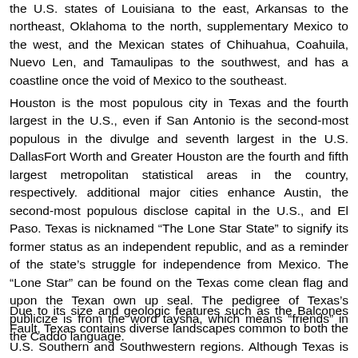the U.S. states of Louisiana to the east, Arkansas to the northeast, Oklahoma to the north, supplementary Mexico to the west, and the Mexican states of Chihuahua, Coahuila, Nuevo Len, and Tamaulipas to the southwest, and has a coastline once the void of Mexico to the southeast.
Houston is the most populous city in Texas and the fourth largest in the U.S., even if San Antonio is the second-most populous in the divulge and seventh largest in the U.S. DallasFort Worth and Greater Houston are the fourth and fifth largest metropolitan statistical areas in the country, respectively. additional major cities enhance Austin, the second-most populous disclose capital in the U.S., and El Paso. Texas is nicknamed “The Lone Star State” to signify its former status as an independent republic, and as a reminder of the state’s struggle for independence from Mexico. The “Lone Star” can be found on the Texas come clean flag and upon the Texan own up seal. The pedigree of Texas’s publicize is from the word taysha, which means “friends” in the Caddo language.
Due to its size and geologic features such as the Balcones Fault, Texas contains diverse landscapes common to both the U.S. Southern and Southwestern regions. Although Texas is popularly associated later than the U.S. southwestern deserts, less than 10%